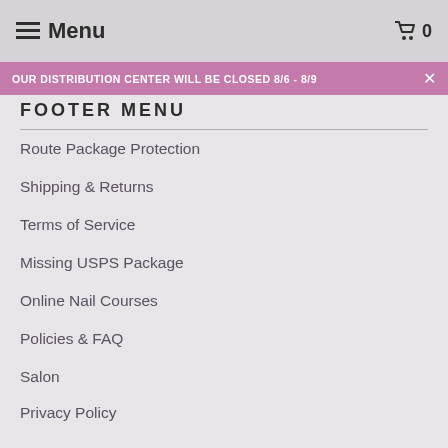Menu   0
OUR DISTRIBUTION CENTER WILL BE CLOSED 8/6 - 8/9 ×
FOOTER MENU
Route Package Protection
Shipping & Returns
Terms of Service
Missing USPS Package
Online Nail Courses
Policies & FAQ
Salon
Privacy Policy
Our Story